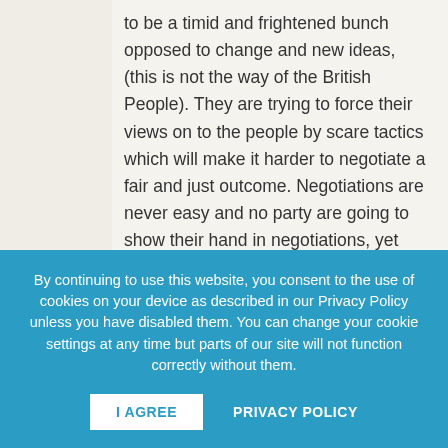to be a timid and frightened bunch opposed to change and new ideas, (this is not the way of the British People). They are trying to force their views on to the people by scare tactics which will make it harder to negotiate a fair and just outcome. Negotiations are never easy and no party are going to show their hand in negotiations, yet some fractions of the the British media seem to want to force this
By continuing to use this website, you consent to the use of cookies on your device as described in our Privacy Policy unless you have disabled them. You can change your cookie settings at any time but parts of our site will not function correctly without them.
I AGREE
PRIVACY POLICY